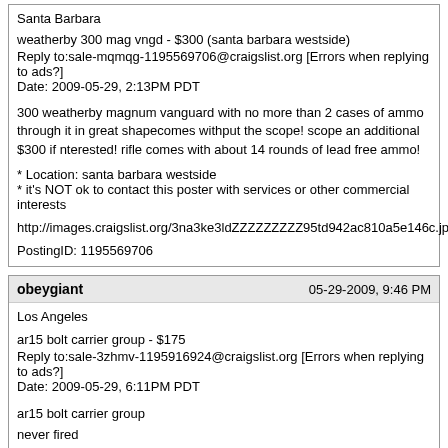Santa Barbara
weatherby 300 mag vngd - $300 (santa barbara westside)
Reply to:sale-mqmqg-1195569706@craigslist.org [Errors when replying to ads?]
Date: 2009-05-29, 2:13PM PDT
300 weatherby magnum vanguard with no more than 2 cases of ammo through it in great shapecomes withput the scope! scope an additional $300 if nterested! rifle comes with about 14 rounds of lead free ammo!
* Location: santa barbara westside
* it's NOT ok to contact this poster with services or other commercial interests
http://images.craigslist.org/3na3ke3ldZZZZZZZZZ95td942ac810a5e146c.jpg
PostingID: 1195569706
obeygiant	05-29-2009, 9:46 PM
Los Angeles
ar15 bolt carrier group - $175
Reply to:sale-3zhmv-1195916924@craigslist.org [Errors when replying to ads?]
Date: 2009-05-29, 6:11PM PDT
ar15 bolt carrier group
never fired
stag arms bolt
semi
175.00 firm*
must sell by sat
* it's NOT ok to contact this poster with services or other commercial interests